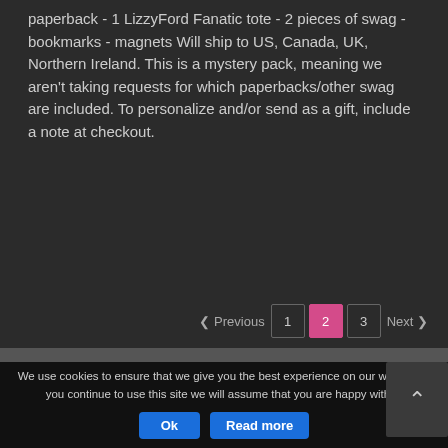paperback - 1 LizzyFord Fanatic tote - 2 pieces of swag - bookmarks - magnets Will ship to US, Canada, UK, Northern Ireland. This is a mystery pack, meaning we aren't taking requests for which paperbacks/other swag are included. To personalize and/or send as a gift, include a note at checkout.
Previous 1 2 3 Next
We use cookies to ensure that we give you the best experience on our website. If you continue to use this site we will assume that you are happy with it.
Ok  Read more